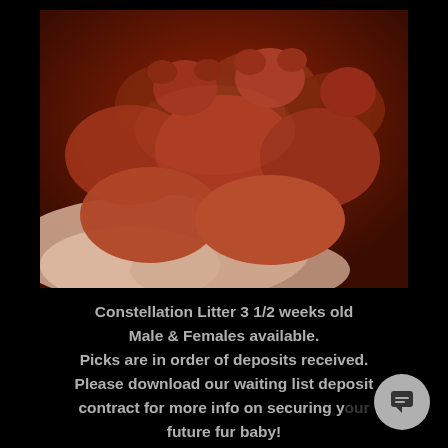[Figure (photo): A group of newborn puppies huddled together on white fabric, illuminated with warm reddish light. The puppies appear very young, eyes still closed.]
Constellation Litter 3 1/2 weeks old
Male & Females available.
Picks are in order of deposits received.
Please download our waiting list deposit contract for more info on securing your future fur baby!